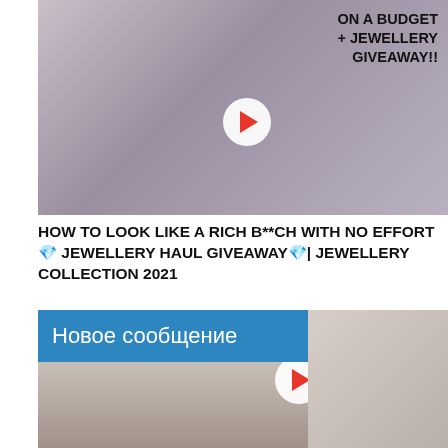[Figure (screenshot): Video thumbnail showing a woman in a white blouse holding jewelry/necklace, with text overlay reading 'ON A BUDGET + JEWELLERY GIVEAWAY!!' and a play button in the center]
HOW TO LOOK LIKE A RICH B**CH WITH NO EFFORT 💎 JEWELLERY HAUL GIVEAWAY💎| JEWELLERY COLLECTION 2021
[Figure (screenshot): Video thumbnail split into two parts: left side shows Russian text 'Новое сообщение' on blue background with a person's lower body, right side shows a man's face with wide eyes]